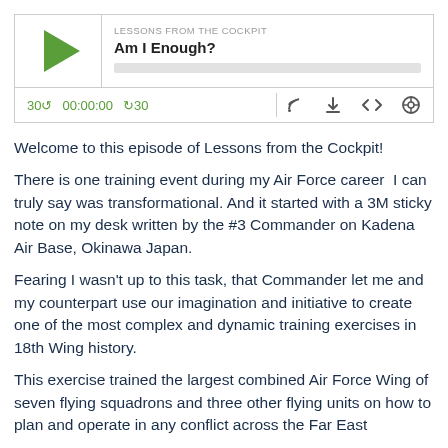[Figure (screenshot): Podcast player widget for 'Lessons from the Cockpit' episode titled 'Am I Enough?' with play button, progress bar, time controls (30s back, 00:00:00, 30s forward), and icons for RSS, download, embed, and share.]
Welcome to this episode of Lessons from the Cockpit!
There is one training event during my Air Force career  I can truly say was transformational. And it started with a 3M sticky note on my desk written by the #3 Commander on Kadena Air Base, Okinawa Japan.
Fearing I wasn't up to this task, that Commander let me and my counterpart use our imagination and initiative to create one of the most complex and dynamic training exercises in 18th Wing history.
This exercise trained the largest combined Air Force Wing of seven flying squadrons and three other flying units on how to plan and operate in any conflict across the Far East